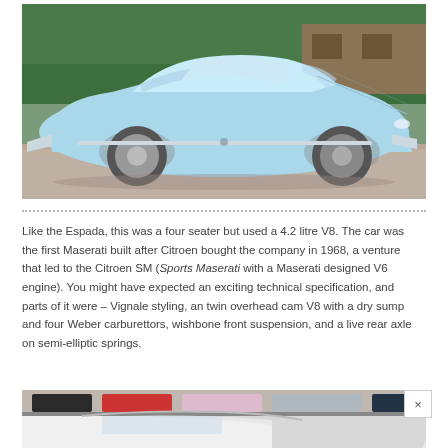[Figure (photo): Light blue Maserati classic sports car parked on a gravel surface with trees and a wall in the background]
Like the Espada, this was a four seater but used a 4.2 litre V8. The car was the first Maserati built after Citroen bought the company in 1968, a venture that led to the Citroen SM (Sports Maserati with a Maserati designed V6 engine). You might have expected an exciting technical specification, and parts of it were – Vignale styling, an twin overhead cam V8 with a dry sump and four Weber carburettors, wishbone front suspension, and a live rear axle on semi-elliptic springs.
[Figure (photo): Partial view of cars at a show, white car visible in lower portion]